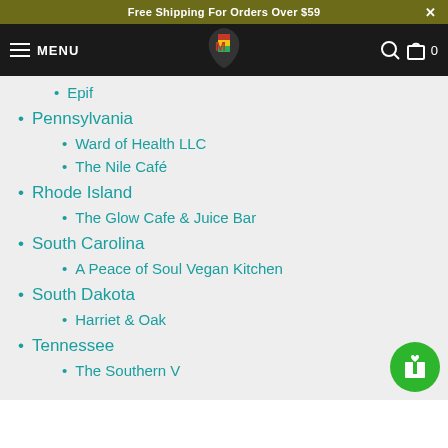Free Shipping For Orders Over $59
MENU
Epif
Pennsylvania
Ward of Health LLC
The Nile Café
Rhode Island
The Glow Cafe & Juice Bar
South Carolina
A Peace of Soul Vegan Kitchen
South Dakota
Harriet & Oak
Tennessee
The Southern V